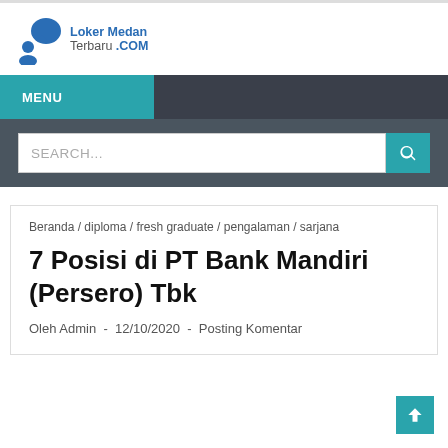[Figure (logo): Loker Medan Terbaru .COM logo with speech bubble and person icon in blue/teal]
MENU
SEARCH...
Beranda / diploma / fresh graduate / pengalaman / sarjana
7 Posisi di PT Bank Mandiri (Persero) Tbk
Oleh Admin  -  12/10/2020  -  Posting Komentar